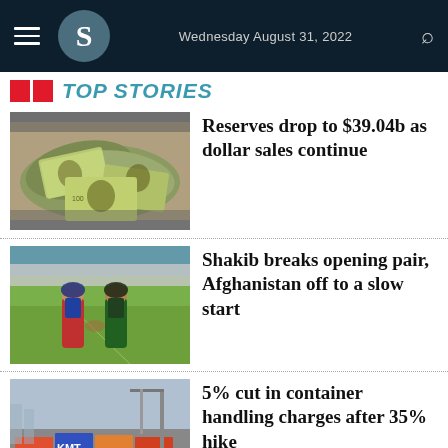Wednesday August 31, 2022
Top Stories
[Figure (photo): Pile of US hundred dollar bills]
Reserves drop to $39.04b as dollar sales continue
[Figure (photo): Two cricket players shaking hands on the field before a match]
Shakib breaks opening pair, Afghanistan off to a slow start
[Figure (photo): Shipping containers at a port with KMT and K LINE visible]
5% cut in container handling charges after 35% hike